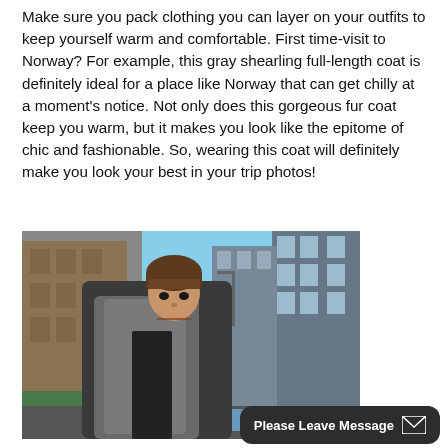Make sure you pack clothing you can layer on your outfits to keep yourself warm and comfortable. First time-visit to Norway? For example, this gray shearling full-length coat is definitely ideal for a place like Norway that can get chilly at a moment's notice. Not only does this gorgeous fur coat keep you warm, but it makes you look like the epitome of chic and fashionable. So, wearing this coat will definitely make you look your best in your trip photos!
[Figure (photo): A woman wearing a gray shearling full-length coat standing on a city street with buildings and blue sky in the background]
Please Leave Message